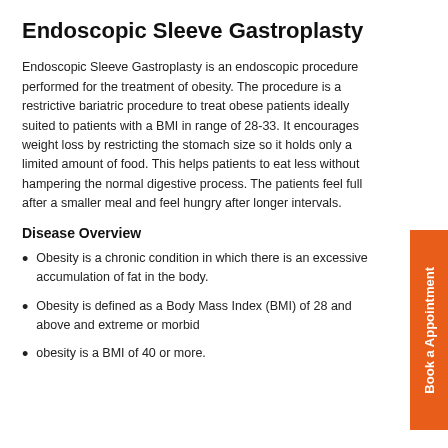Endoscopic Sleeve Gastroplasty
Endoscopic Sleeve Gastroplasty is an endoscopic procedure performed for the treatment of obesity. The procedure is a restrictive bariatric procedure to treat obese patients ideally suited to patients with a BMI in range of 28-33. It encourages weight loss by restricting the stomach size so it holds only a limited amount of food. This helps patients to eat less without hampering the normal digestive process. The patients feel full after a smaller meal and feel hungry after longer intervals.
Disease Overview
Obesity is a chronic condition in which there is an excessive accumulation of fat in the body.
Obesity is defined as a Body Mass Index (BMI) of 28 and above and extreme or morbid
obesity is a BMI of 40 or more.